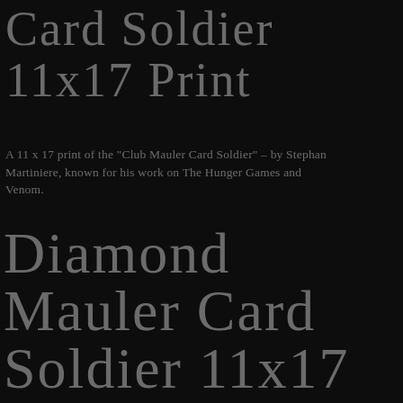Card Soldier 11x17 Print
A 11 x 17 print of the "Club Mauler Card Soldier" – by Stephan Martiniere, known for his work on The Hunger Games and Venom.
Diamond Mauler Card Soldier 11x17